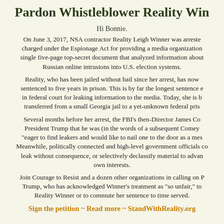Pardon Whistleblower Reality Win...
Hi Bonnie.
On June 3, 2017, NSA contractor Reality Leigh Winner was arrested and charged under the Espionage Act for providing a media organization a single five-page top-secret document that analyzed information about Russian online intrusions into U.S. election systems.
Reality, who has been jailed without bail since her arrest, has now been sentenced to five years in prison. This is by far the longest sentence ever in federal court for leaking information to the media. Today, she is being transferred from a small Georgia jail to a yet-unknown federal prison.
Several months before her arrest, the FBI's then-Director James Comey told President Trump that he was (in the words of a subsequent Comey memo) "eager to find leakers and would like to nail one to the door as a message." Meanwhile, politically connected and high-level government officials continue to leak without consequence, or selectively declassify material to advance their own interests.
Join Courage to Resist and a dozen other organizations in calling on President Trump, who has acknowledged Winner's treatment as "so unfair," to pardon Reality Winner or to commute her sentence to time served.
Sign the petition ~ Read more ~ StandWithReality.org